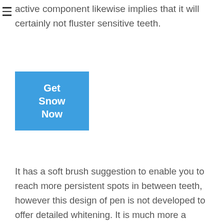active component likewise implies that it will certainly not fluster sensitive teeth.
[Figure (other): Blue button labeled 'Get Snow Now']
It has a soft brush suggestion to enable you to reach more persistent spots in between teeth, however this design of pen is not developed to offer detailed whitening. It is much more a upkeep device, keeping the sparkle of your smile when you swipe it on.
Inquiries concerning the very best Way to Obtain Brighter